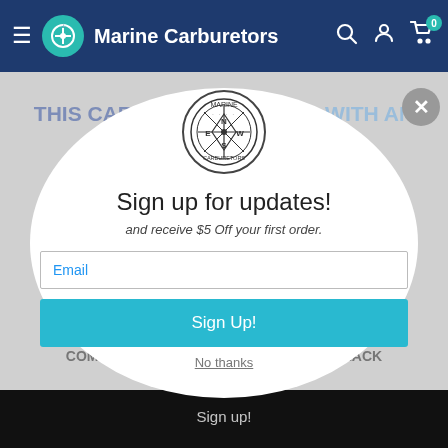Marine Carburetors
[Figure (logo): Marine Carburetors compass-style circular logo with N, E, S, W directions and an anchor icon]
Sign up for updates!
and receive $5 Off your first order.
Email
Sign Up!
No thanks
THIS CARBURETOR COMES WITH AN ELECTRIC CHOKE
If your currently have a climatic or hot air choke carburetor us... you need is a 12 volt lead from your ignition to the electric choke, choke is already grounded
THESE CARBURETORS FEATURE NEW COMPONENTS, PROTECTIVE COAT OF BLACK
Sign up!